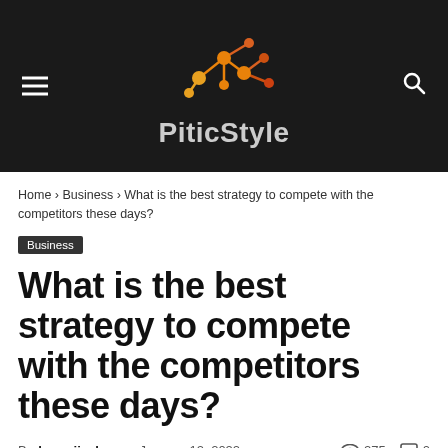[Figure (logo): PiticStyle website logo: network graph icon in orange/red gradient above the text 'PiticStyle' in gray, on a dark background. Hamburger menu icon on the left, search icon on the right.]
Home › Business › What is the best strategy to compete with the competitors these days?
Business
What is the best strategy to compete with the competitors these days?
By henryjjackson  January 12, 2022  👁 275  💬 0